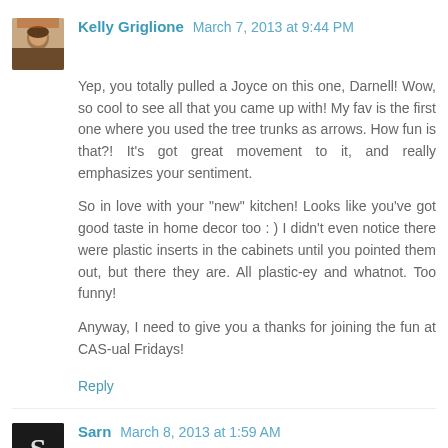[Figure (photo): Small square avatar photo of Kelly Griglione, a woman with brown hair, outdoors with autumn colors]
Kelly Griglione March 7, 2013 at 9:44 PM
Yep, you totally pulled a Joyce on this one, Darnell! Wow, so cool to see all that you came up with! My fav is the first one where you used the tree trunks as arrows. How fun is that?! It's got great movement to it, and really emphasizes your sentiment.
So in love with your "new" kitchen! Looks like you've got good taste in home decor too : ) I didn't even notice there were plastic inserts in the cabinets until you pointed them out, but there they are. All plastic-ey and whatnot. Too funny!
Anyway, I need to give you a thanks for joining the fun at CAS-ual Fridays!
Reply
[Figure (photo): Small square avatar with a stylized letter S on dark background]
Sarn March 8, 2013 at 1:59 AM